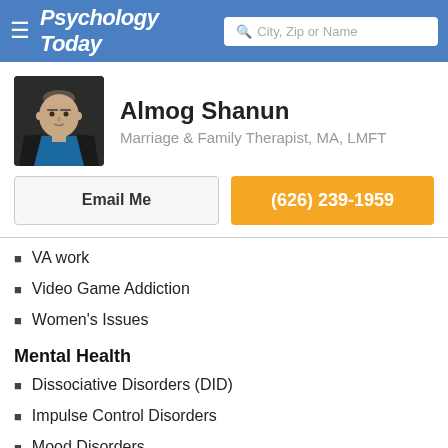Psychology Today — City, Zip or Name
Almog Shanun
Marriage & Family Therapist, MA, LMFT
Email Me
(626) 239-1959
VA work
Video Game Addiction
Women's Issues
Mental Health
Dissociative Disorders (DID)
Impulse Control Disorders
Mood Disorders
Personality Disorders
Psychosis
Thinking Disorders